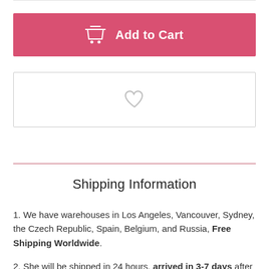[Figure (other): Add to Cart button with shopping cart icon, pink/rose background, white text]
[Figure (other): Wishlist button with heart icon outline, white background with light gray border]
Shipping Information
We have warehouses in Los Angeles, Vancouver, Sydney, the Czech Republic, Spain, Belgium, and Russia, Free Shipping Worldwide.
She will be shipped in 24 hours, arrived in 3-7 days after